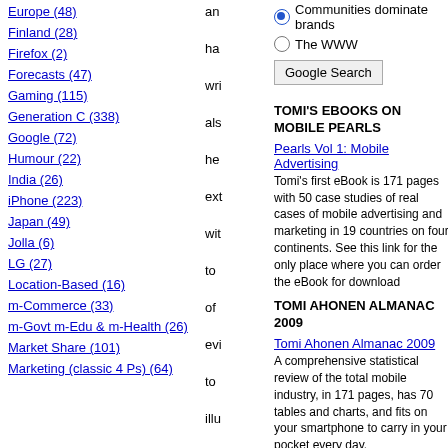Europe (48)
Finland (28)
Firefox (2)
Forecasts (47)
Gaming (115)
Generation C (338)
Google (72)
Humour (22)
India (26)
iPhone (223)
Japan (49)
Jolla (6)
LG (27)
Location-Based (16)
m-Commerce (33)
m-Govt m-Edu & m-Health (26)
Market Share (101)
Marketing (classic 4 Ps) (64)
Communities dominate brands
The WWW
Google Search
TOMI'S EBOOKS ON MOBILE PEARLS
Pearls Vol 1: Mobile Advertising
Tomi's first eBook is 171 pages with 50 case studies of real cases of mobile advertising and marketing in 19 countries on four continents. See this link for the only place where you can order the eBook for download
TOMI AHONEN ALMANAC 2009
Tomi Ahonen Almanac 2009
A comprehensive statistical review of the total mobile industry, in 171 pages, has 70 tables and charts, and fits on your smartphone to carry in your pocket every day.
TOMI'S OTHER BOOKS